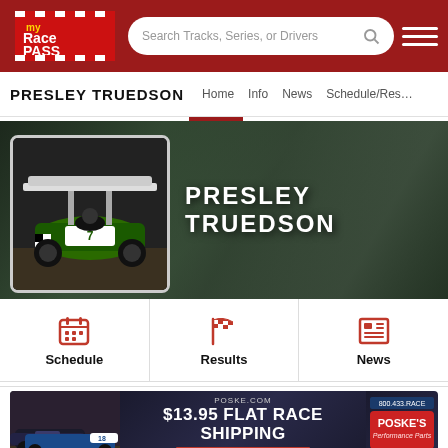MyRacePass navigation bar with logo, search, and menu
PRESLEY TRUEDSON
Home  Info  News  Schedule/Results
[Figure (photo): Sprint car racing photo used as profile image for Presley Truedson, showing a white/green sprint car with wing on a dirt track]
PRESLEY TRUEDSON
[Figure (infographic): Three icon buttons: Schedule (calendar icon), Results (checkered flag icon), News (newspaper icon)]
[Figure (photo): Poske.com advertisement banner: $13.95 FLAT RACE SHIPPING - CLICK HERE FOR DETAILS, showing racing cars on left and Poske's Performance Parts logo on right]
Build your brand with MRP Digital Ads